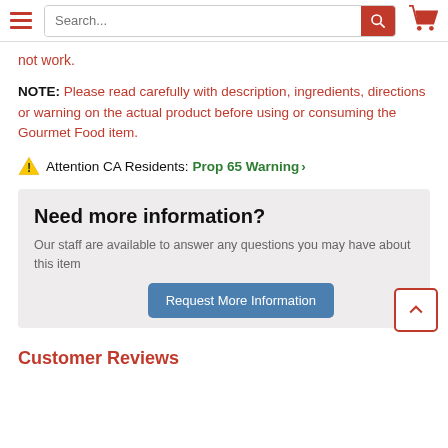Navigation bar with hamburger menu, search bar, and cart icon
not work.
NOTE: Please read carefully with description, ingredients, directions or warning on the actual product before using or consuming the Gourmet Food item.
Attention CA Residents: Prop 65 Warning >
Need more information?
Our staff are available to answer any questions you may have about this item
Request More Information
Customer Reviews